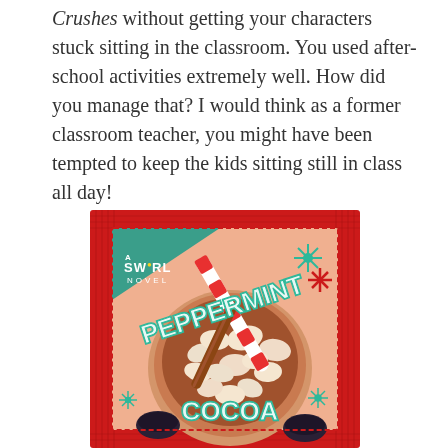Crushes without getting your characters stuck sitting in the classroom. You used after-school activities extremely well. How did you manage that? I would think as a former classroom teacher, you might have been tempted to keep the kids sitting still in class all day!
[Figure (illustration): Book cover of 'Peppermint Cocoa', a Swirl Novel. Features a top-down view of a hot cocoa mug with marshmallows, a candy cane straw, and a cinnamon stick. Text 'PEPPERMINT COCOA' in large teal letters with a red corrugated border and snowflake decorations.]